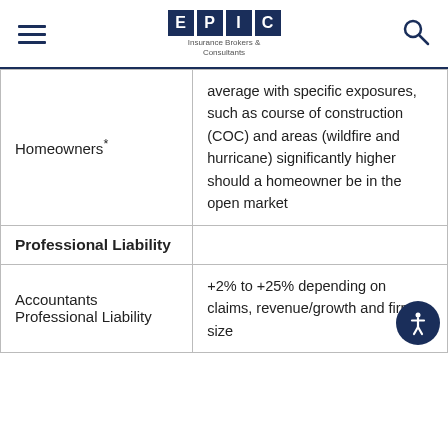EPIC Insurance Brokers & Consultants
| Coverage | Rate Change |
| --- | --- |
| Homeowners* | average with specific exposures, such as course of construction (COC) and areas (wildfire and hurricane) significantly higher should a homeowner be in the open market |
| Professional Liability |  |
| Accountants Professional Liability | +2% to +25% depending on claims, revenue/growth and firm size |